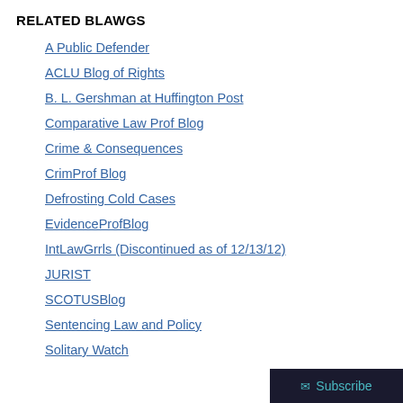RELATED BLAWGS
A Public Defender
ACLU Blog of Rights
B. L. Gershman at Huffington Post
Comparative Law Prof Blog
Crime & Consequences
CrimProf Blog
Defrosting Cold Cases
EvidenceProfBlog
IntLawGrrls (Discontinued as of 12/13/12)
JURIST
SCOTUSBlog
Sentencing Law and Policy
Solitary Watch